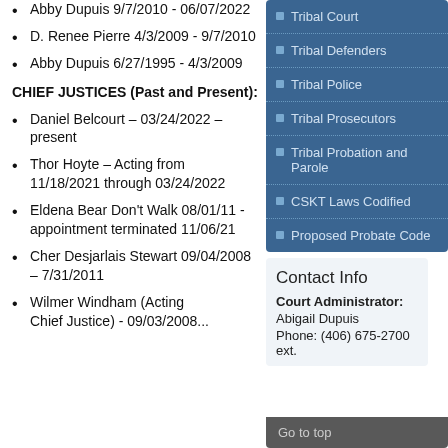Abby Dupuis 9/7/2010 - 06/07/2022
D. Renee Pierre 4/3/2009 - 9/7/2010
Abby Dupuis 6/27/1995 - 4/3/2009
CHIEF JUSTICES (Past and Present):
Daniel Belcourt – 03/24/2022 – present
Thor Hoyte – Acting from 11/18/2021 through 03/24/2022
Eldena Bear Don't Walk 08/01/11 - appointment terminated 11/06/21
Cher Desjarlais Stewart 09/04/2008 – 7/31/2011
Wilmer Windham (Acting Chief Justice) - 09/03/2008...
[Figure (other): Navigation menu with blue background listing: Tribal Court, Tribal Defenders, Tribal Police, Tribal Prosecutors, Tribal Probation and Parole, CSKT Laws Codified, Proposed Probate Code]
Contact Info
Court Administrator:
Abigail Dupuis
Phone: (406) 675-2700 ext.
Go to top